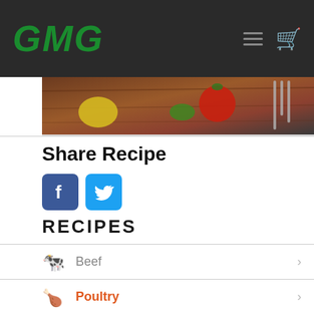GMG
[Figure (photo): Food photo banner showing grilled meat, tomato, greens, and a fork on a wooden cutting board]
Share Recipe
[Figure (logo): Facebook and Twitter social share icons]
RECIPES
Beef
Poultry
Pork
Seafood